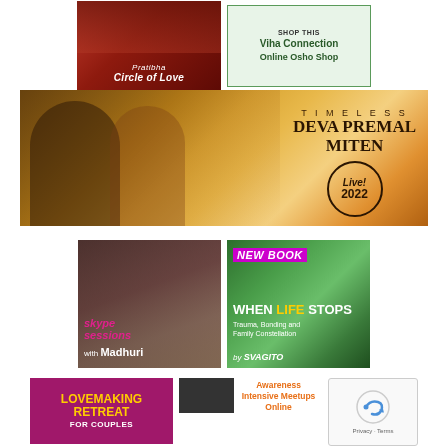[Figure (illustration): Pratibha Circle of Love advertisement with dark red background]
[Figure (illustration): Viha Connection Online Osho Shop advertisement with green border]
[Figure (illustration): Timeless Deva Premal Miten Live! 2022 wide banner advertisement with warm golden tones and couple silhouettes]
[Figure (illustration): Skype sessions with Madhuri advertisement showing woman's face]
[Figure (illustration): New Book: When Life Stops - Trauma, Bonding and Family Constellation by Svagito advertisement]
[Figure (illustration): Lovemaking Retreat for Couples advertisement with magenta background]
[Figure (illustration): Awareness Intensive Meetups Online advertisement]
[Figure (illustration): reCAPTCHA Privacy - Terms widget]